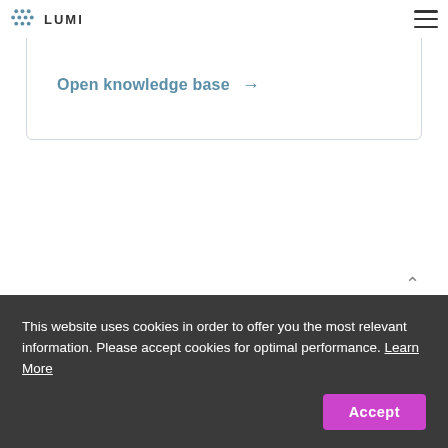LUMI
Open knowledge base →
This website uses cookies in order to offer you the most relevant information. Please accept cookies for optimal performance. Learn More
Accept